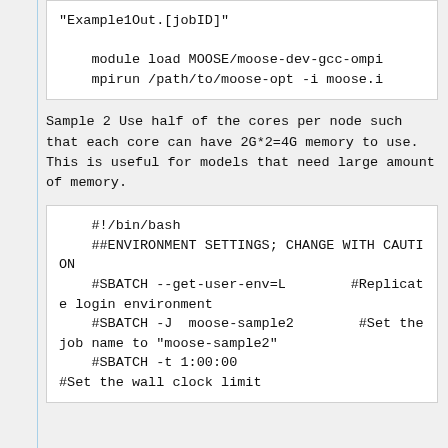"Example1Out.[jobID]"

    module load MOOSE/moose-dev-gcc-ompi
    mpirun /path/to/moose-opt -i moose.i
Sample 2 Use half of the cores per node such that each core can have 2G*2=4G memory to use. This is useful for models that need large amount of memory.
#!/bin/bash
    ##ENVIRONMENT SETTINGS; CHANGE WITH CAUTION
    #SBATCH --get-user-env=L        #Replicate login environment
    #SBATCH -J  moose-sample2        #Set the job name to "moose-sample2"
    #SBATCH -t 1:00:00
#Set the wall clock limit